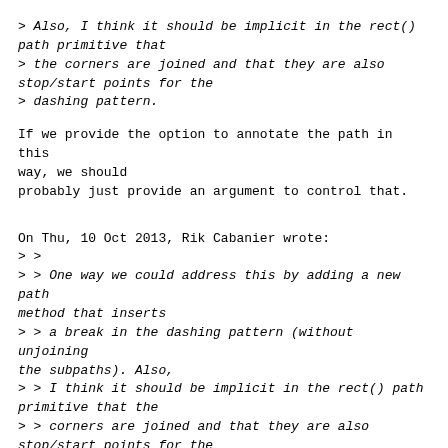> Also, I think it should be implicit in the rect() path primitive that
> the corners are joined and that they are also stop/start points for the
> dashing pattern.
If we provide the option to annotate the path in this way, we should
probably just provide an argument to control that.
On Thu, 10 Oct 2013, Rik Cabanier wrote:
> >
> > One way we could address this by adding a new path method that inserts
> > a break in the dashing pattern (without unjoining the subpaths). Also,
> > I think it should be implicit in the rect() path primitive that the
> > corners are joined and that they are also stop/start points for the
> > dashing pattern.
>
> That would break current behavior . We will need a new API or additional
> arguments (a dash array?)
Can you elaborate? What would break?